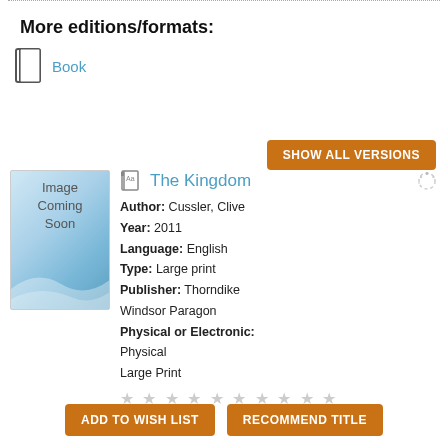More editions/formats:
Book
SHOW ALL VERSIONS
The Kingdom
Author: Cussler, Clive
Year: 2011
Language: English
Type: Large print
Publisher: Thorndike Windsor Paragon
Physical or Electronic:
Physical
Large Print
★ ★ ★ ★ ★ ★ ★ ★ ★ ★
ADD TO WISH LIST
RECOMMEND TITLE